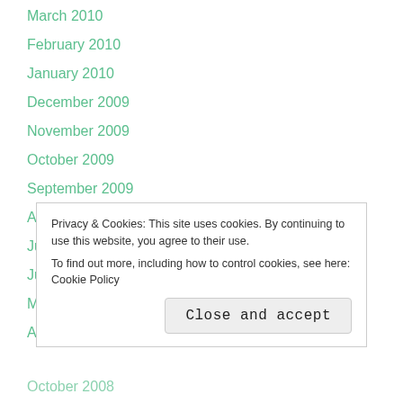March 2010
February 2010
January 2010
December 2009
November 2009
October 2009
September 2009
August 2009
July 2009
June 2009
May 2009
April 2009
Privacy & Cookies: This site uses cookies. By continuing to use this website, you agree to their use.
To find out more, including how to control cookies, see here: Cookie Policy
Close and accept
October 2008